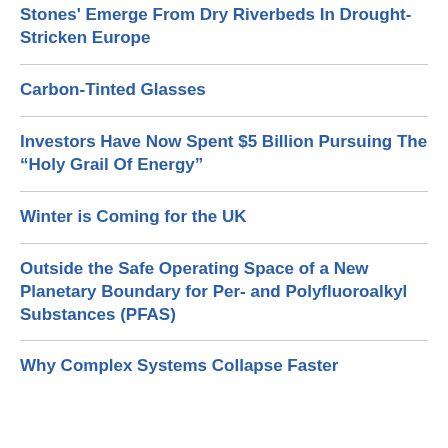Stones' Emerge From Dry Riverbeds In Drought-Stricken Europe
Carbon-Tinted Glasses
Investors Have Now Spent $5 Billion Pursuing The “Holy Grail Of Energy”
Winter is Coming for the UK
Outside the Safe Operating Space of a New Planetary Boundary for Per- and Polyfluoroalkyl Substances (PFAS)
Why Complex Systems Collapse Faster